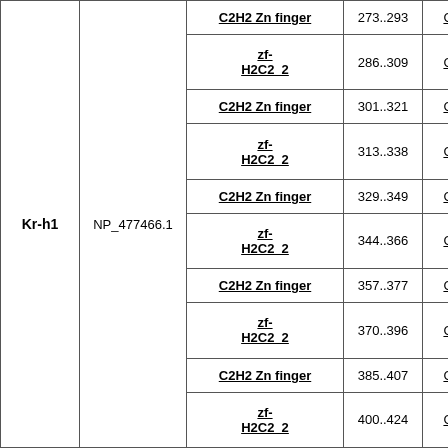| Gene | Protein | Domain | Position | CDD |
| --- | --- | --- | --- | --- |
| Kr-h1 | NP_477466.1 | C2H2 Zn finger | 273..293 | CDD:275368 |
|  |  | zf-H2C2_2 | 286..309 | CDD:290200 |
|  |  | C2H2 Zn finger | 301..321 | CDD:275368 |
|  |  | zf-H2C2_2 | 313..338 | CDD:290200 |
|  |  | C2H2 Zn finger | 329..349 | CDD:275368 |
|  |  | zf-H2C2_2 | 344..366 | CDD:290200 |
|  |  | C2H2 Zn finger | 357..377 | CDD:275368 |
|  |  | zf-H2C2_2 | 370..396 | CDD:290200 |
|  |  | C2H2 Zn finger | 385..407 | CDD:275368 |
|  |  | zf-H2C2_2 | 400..424 | CDD:290200 |